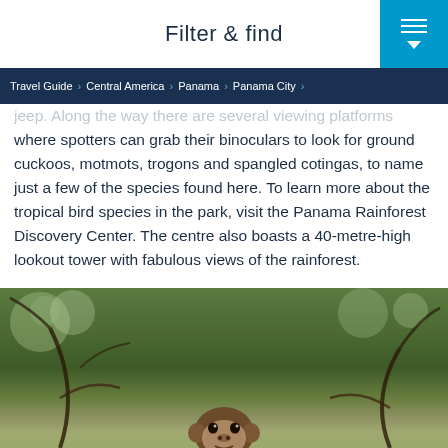Filter & find
Travel Guide > Central America > Panama > Panama City >
jeep. Along the way there are several viewing platforms where spotters can grab their binoculars to look for ground cuckoos, motmots, trogons and spangled cotingas, to name just a few of the species found here. To learn more about the tropical bird species in the park, visit the Panama Rainforest Discovery Center. The centre also boasts a 40-metre-high lookout tower with fabulous views of the rainforest.
[Figure (photo): Close-up photo of a monkey or similar animal among green foliage and branches in a rainforest setting]